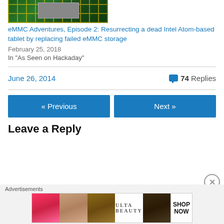[Figure (photo): Circuit board close-up photo showing green PCB with yellow traces and grey chip]
eMMC Adventures, Episode 2: Resurrecting a dead Intel Atom-based tablet by replacing failed eMMC storage
February 25, 2018
In "As Seen on Hackaday"
June 26, 2014
74 Replies
« Previous
Next »
Leave a Reply
[Figure (photo): Ulta Beauty advertisement banner with makeup imagery and SHOP NOW call to action]